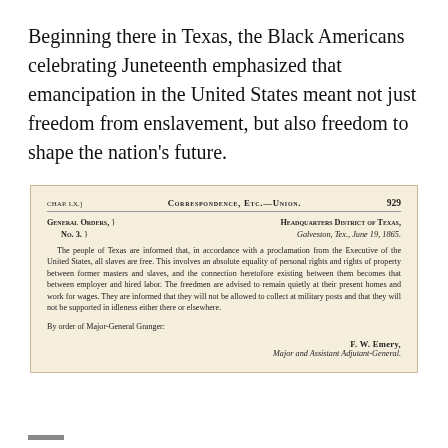Beginning there in Texas, the Black Americans celebrating Juneteenth emphasized that emancipation in the United States meant not just freedom from enslavement, but also freedom to shape the nation's future.
[Figure (other): Scanned historical document showing General Orders No. 3 from Headquarters District of Texas, Galveston, Tex., June 19, 1865, announcing emancipation. Signed by F. W. Emery, Major and Assistant Adjutant-General. Document has aged cream/tan background. Header reads: CORRESPONDENCE, ETC.—UNION. 929.]